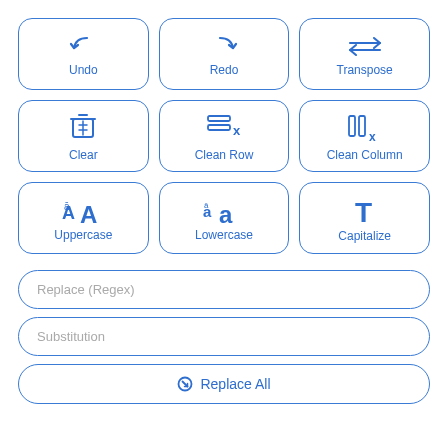[Figure (screenshot): UI panel with 9 action buttons in a 3x3 grid (Undo, Redo, Transpose, Clear, Clean Row, Clean Column, Uppercase, Lowercase, Capitalize), two text input fields (Replace Regex, Substitution), and a Replace All button.]